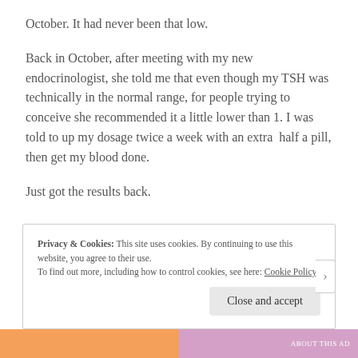October. It had never been that low.
Back in October, after meeting with my new endocrinologist, she told me that even though my TSH was technically in the normal range, for people trying to conceive she recommended it a little lower than 1. I was told to up my dosage twice a week with an extra half a pill, then get my blood done.
Just got the results back.
Privacy & Cookies: This site uses cookies. By continuing to use this website, you agree to their use.
To find out more, including how to control cookies, see here: Cookie Policy